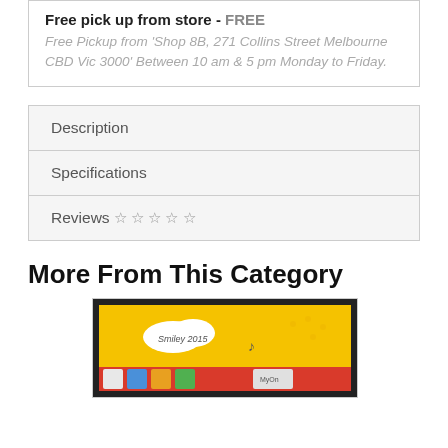Free pick up from store - FREE
Free Pickup from 'Shop 8B, 271 Collins Street Melbourne CBD Vic 3000' Between 10 am & 5 pm Monday to Friday.
Description
Specifications
Reviews ☆ ☆ ☆ ☆ ☆
More From This Category
[Figure (photo): Product thumbnail image showing a stamp/calendar style product with 'Smiley 2015' text on yellow and red background with small illustrations]